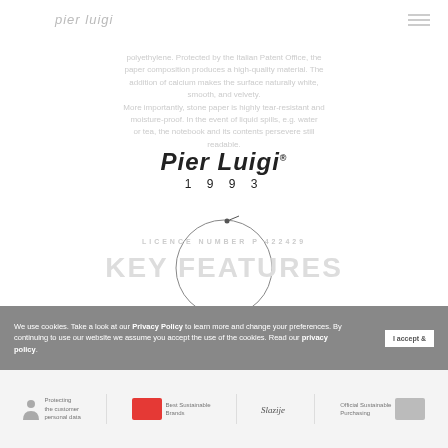pier luigi
polyethylene. Protected by the Italian Patent Office, the paper composition produces a high-quality material. The addition of calcium makes the surface naturally white, smooth, and velvety. More importantly, stone paper is highly tear-resistant and moisture-proof. In the event of liquid spills, e.g. water or tea, the notebook and its contents persevere still readable.
[Figure (logo): Pier Luigi 1993 brand logo in italic serif font with registered trademark symbol]
[Figure (other): Thin circular ring graphic with small dot at top]
LICENCE NUMBER P 422429
KEY FEATURES
We use cookies. Take a look at our Privacy Policy to learn more and change your preferences. By continuing to use our website we assume you accept the use of the cookies. Read our privacy policy.
Footer bar with partner logos and brand icons